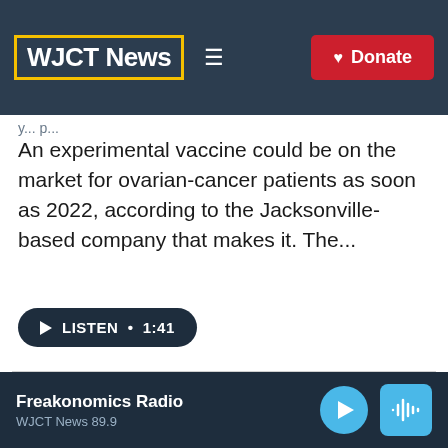WJCT News
An experimental vaccine could be on the market for ovarian-cancer patients as soon as 2022, according to the Jacksonville-based company that makes it. The...
LISTEN • 1:41
[Figure (photo): Children sitting on chairs in a library or waiting room; a child in a green shirt and red cap is visible in the foreground.]
Freakonomics Radio
WJCT News 89.9